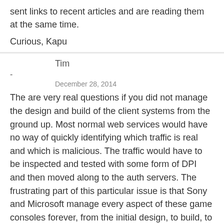sent links to recent articles and are reading them at the same time.
Curious, Kapu
Tim
-
December 28, 2014
The are very real questions if you did not manage the design and build of the client systems from the ground up. Most normal web services would have no way of quickly identifying which traffic is real and which is malicious. The traffic would have to be inspected and tested with some form of DPI and then moved along to the auth servers. The frustrating part of this particular issue is that Sony and Microsoft manage every aspect of these game consoles forever, from the initial design, to build, to forced patching, and eventual sunset. There is nothing unpredictable